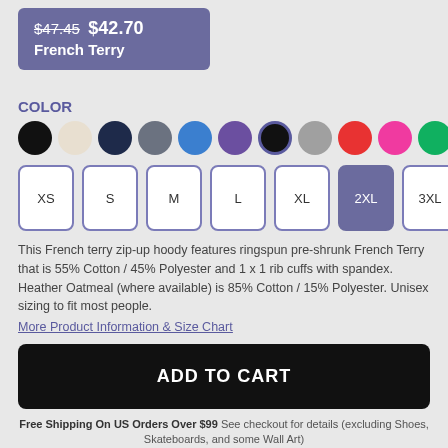$47.45 $42.70 French Terry
COLOR
[Figure (other): Color swatch circles: black, cream, navy, slate, blue, purple, charcoal (selected with ring), gray, red, pink, green]
[Figure (other): Size selector buttons: XS, S, M, L, XL, 2XL (selected/highlighted), 3XL]
This French terry zip-up hoody features ringspun pre-shrunk French Terry that is 55% Cotton / 45% Polyester and 1 x 1 rib cuffs with spandex. Heather Oatmeal (where available) is 85% Cotton / 15% Polyester. Unisex sizing to fit most people.
More Product Information & Size Chart
ADD TO CART
Free Shipping On US Orders Over $99 See checkout for details (excluding Shoes, Skateboards, and some Wall Art)